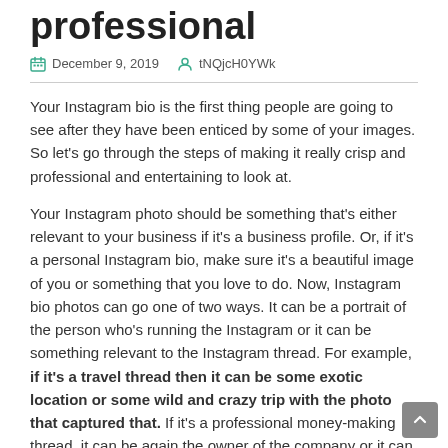professional
December 9, 2019   tNQjcH0YWk
Your Instagram bio is the first thing people are going to see after they have been enticed by some of your images. So let's go through the steps of making it really crisp and professional and entertaining to look at.
Your Instagram photo should be something that's either relevant to your business if it's a business profile. Or, if it's a personal Instagram bio, make sure it's a beautiful image of you or something that you love to do. Now, Instagram bio photos can go one of two ways. It can be a portrait of the person who's running the Instagram or it can be something relevant to the Instagram thread. For example, if it's a travel thread then it can be some exotic location or some wild and crazy trip with the photo that captured that. If it's a professional money-making thread, it can be again the owner of the company or it can be the company's logo. So, your